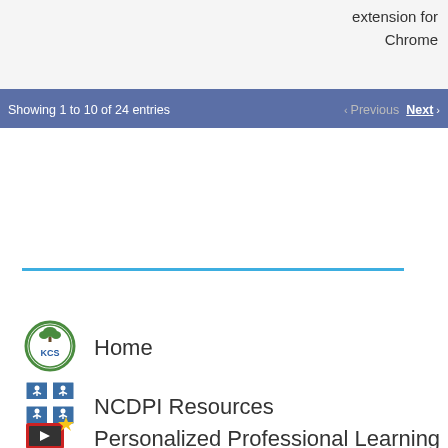extension for
Chrome
Showing 1 to 10 of 24 entries
< Previous  Next >
[Figure (other): KCS logo - green circular emblem with KCS text]
Home
[Figure (logo): NCDPI Resources logo - blue grid/cross emblem]
NCDPI Resources
[Figure (logo): Personalized Professional Learning logo - video/screen icon with yellow star]
Personalized Professional Learning